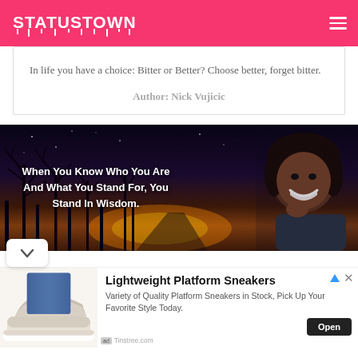STATUSTOWN
In life you have a choice: Bitter or Better? Choose better, forget bitter.
Author: Nick Vujicic
[Figure (photo): Dark night scene with bare trees silhouetted against a twilight sky, with a woman smiling confidently on the right side. Overlaid text reads: 'When You Know Who You Are And What You Stand For, You Stand In Wisdom.']
[Figure (photo): Advertisement showing platform sneakers. Title: Lightweight Platform Sneakers. Body: Variety of Quality Platform Sneakers in Stock, Pick Up Your Favorite Style Today. Source: Tinstree.com]